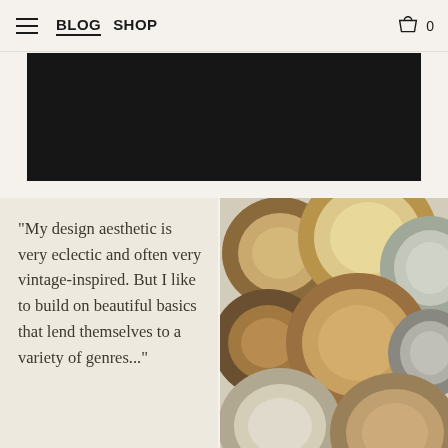BLOG  SHOP  0
[Figure (photo): Dark/black rectangular banner image at top of page]
"My design aesthetic is very eclectic and often very vintage-inspired. But I like to build on beautiful basics that lend themselves to a variety of genres..."
[Figure (photo): Overhead photo of overlapping ceramic plates and bowls in earthy tones of brown, tan, cream, and grey]